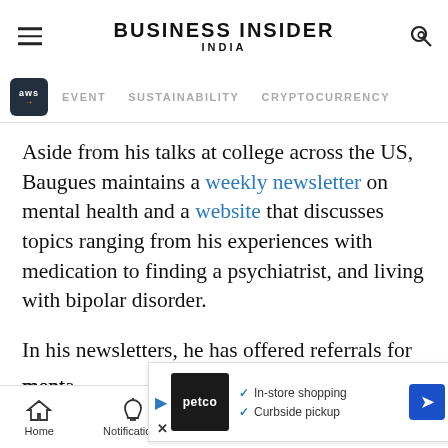BUSINESS INSIDER INDIA
EVENT   SUSTAINABILITY   CRYPTOCURRENCY
Aside from his talks at college across the US, Baugues maintains a weekly newsletter on mental health and a website that discusses topics ranging from his experiences with medication to finding a psychiatrist, and living with bipolar disorder.
In his newsletters, he has offered referrals for mental health resources and starte... ine
[Figure (other): Petco advertisement overlay showing in-store shopping and curbside pickup options]
Home   Notifications   Newsletters   Next   Share